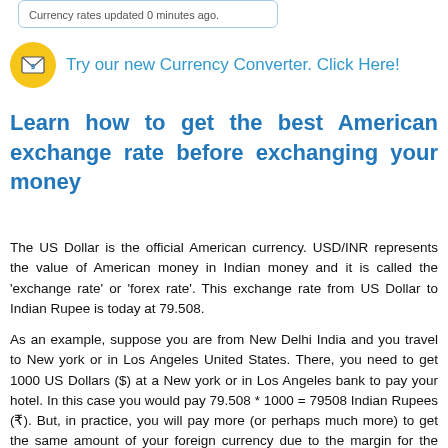Currency rates updated 0 minutes ago.
[Figure (infographic): Yellow circular icon with envelope/currency symbol and text: Try our new Currency Converter. Click Here!]
Learn how to get the best American exchange rate before exchanging your money
The US Dollar is the official American currency. USD/INR represents the value of American money in Indian money and it is called the 'exchange rate' or 'forex rate'. This exchange rate from US Dollar to Indian Rupee is today at 79.508.
As an example, suppose you are from New Delhi India and you travel to New york or in Los Angeles United States. There, you need to get 1000 US Dollars ($) at a New york or in Los Angeles bank to pay your hotel. In this case you would pay 79.508 * 1000 = 79508 Indian Rupees (₹). But, in practice, you will pay more (or perhaps much more) to get the same amount of your foreign currency due to the margin for the money conversion services costs like: commissions, credit card surcharges, ATM fees and other expenses. If, for example, you are using a credit card, this margin will typically